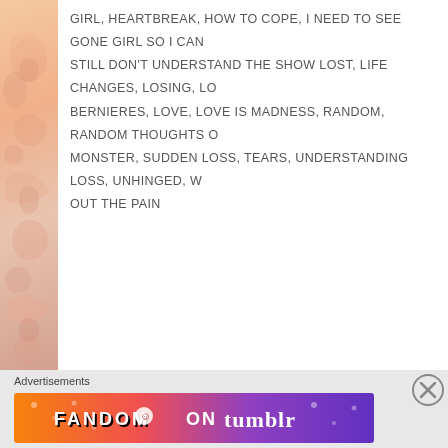GIRL, HEARTBREAK, HOW TO COPE, I NEED TO SEE GONE GIRL SO I CAN... STILL DON'T UNDERSTAND THE SHOW LOST, LIFE CHANGES, LOSING, LO... BERNIERES, LOVE, LOVE IS MADNESS, RANDOM, RANDOM THOUGHTS O... MONSTER, SUDDEN LOSS, TEARS, UNDERSTANDING LOSS, UNHINGED, W... OUT THE PAIN
[Figure (illustration): Decorative sidebar with floral/scroll pattern in warm peach and salmon tones]
Advertisements
[Figure (other): Fandom on Tumblr advertisement banner with colorful gradient background from orange to purple]